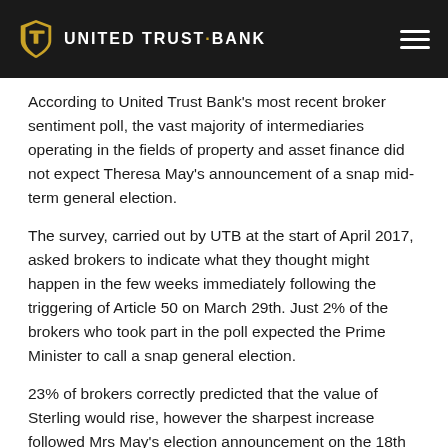United Trust Bank
According to United Trust Bank’s most recent broker sentiment poll, the vast majority of intermediaries operating in the fields of property and asset finance did not expect Theresa May’s announcement of a snap mid-term general election.
The survey, carried out by UTB at the start of April 2017, asked brokers to indicate what they thought might happen in the few weeks immediately following the triggering of Article 50 on March 29th. Just 2% of the brokers who took part in the poll expected the Prime Minister to call a snap general election.
23% of brokers correctly predicted that the value of Sterling would rise, however the sharpest increase followed Mrs May’s election announcement on the 18th of April.
21% of brokers indicated that they expected Jeremy Corbyn to face another Labour Party leadership challenge, but this now looks unlikely until Labour’s performance at the ballot